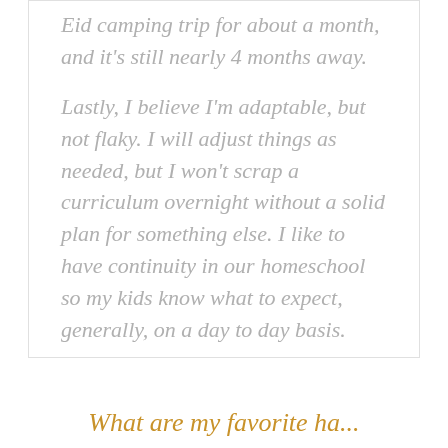Eid camping trip for about a month, and it's still nearly 4 months away.

Lastly, I believe I'm adaptable, but not flaky. I will adjust things as needed, but I won't scrap a curriculum overnight without a solid plan for something else. I like to have continuity in our homeschool so my kids know what to expect, generally, on a day to day basis.
What are my favorite ha...